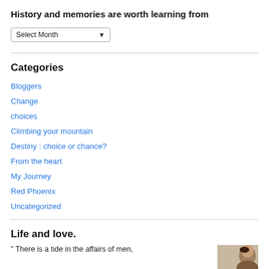History and memories are worth learning from
Select Month
Categories
Bloggers
Change
choices
Climbing your mountain
Destiny : choice or chance?
From the heart
My Journey
Red Phoenix
Uncategorized
Life and love.
" There is a tide in the affairs of men,
[Figure (photo): Partial photo of a person's face, visible in bottom right corner]